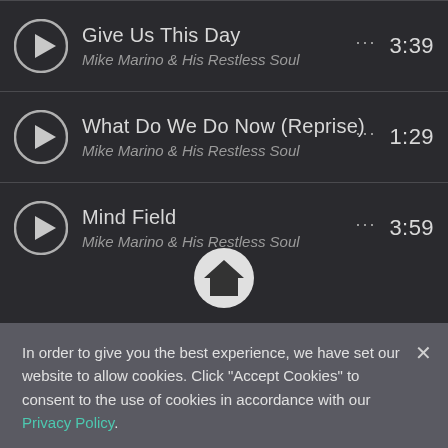Give Us This Day — Mike Marino & His Restless Soul — 3:39
What Do We Do Now (Reprise) — Mike Marino & His Restless Soul — 1:29
Mind Field — Mike Marino & His Restless Soul — 3:59
[Figure (screenshot): Home button icon: circular white button with house icon]
In order to give you the best experience, we have set our website to allow cookies. Click "Accept Cookies" to consent to the use of cookies in accordance with our Privacy Policy.